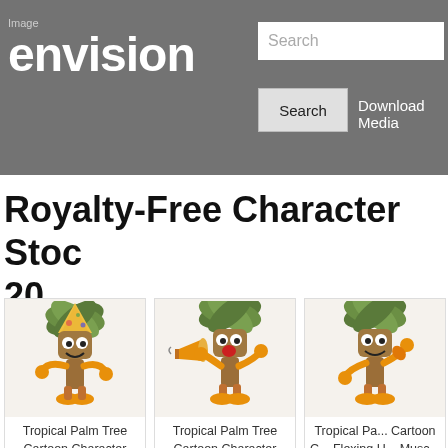Image envision
Royalty-Free Character Stock 20
[Figure (illustration): Cartoon tropical palm tree character wearing a birthday party hat, with googly eyes and orange hands]
Tropical Palm Tree Cartoon Character Wearing A Birthday Party Hat
[Figure (illustration): Cartoon tropical palm tree character screaming into a megaphone, with googly eyes and orange hands]
Tropical Palm Tree Cartoon Character Screaming Into A Megaphone
[Figure (illustration): Cartoon tropical palm tree character flexing muscles, with googly eyes and orange hands]
Tropical Palm Tree Cartoon Character Flexing H... Musc...